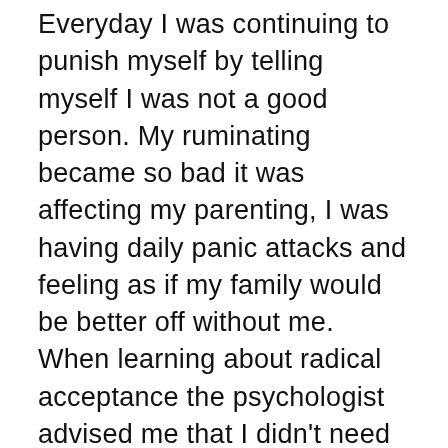Everyday I was continuing to punish myself by telling myself I was not a good person. My ruminating became so bad it was affecting my parenting, I was having daily panic attacks and feeling as if my family would be better off without me. When learning about radical acceptance the psychologist advised me that I didn't need to forgive myself, I could still hate what I'd done and understand that I could not change it. I could accept that it happened and try and build a life for myself, or I could continue to ruin my life by going over and over the same thing. In doing the latter I was hurting my family because they were worried for me, and that only served to make me feel more